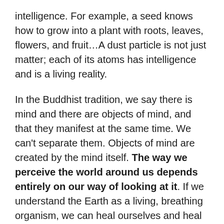intelligence. For example, a seed knows how to grow into a plant with roots, leaves, flowers, and fruit…A dust particle is not just matter; each of its atoms has intelligence and is a living reality.
In the Buddhist tradition, we say there is mind and there are objects of mind, and that they manifest at the same time. We can't separate them. Objects of mind are created by the mind itself. The way we perceive the world around us depends entirely on our way of looking at it. If we understand the Earth as a living, breathing organism, we can heal ourselves and heal the Earth as well. When our physical body is sick, we need to stop, rest, and pay attention to it. We have to stop our thinking, return to our in-breath and out-breath, and come home to our bodOur mind is the consciousness of the cosmos.